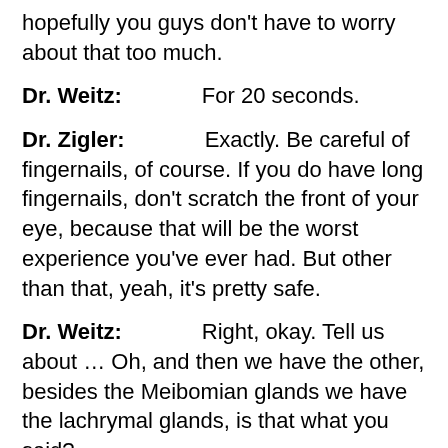hopefully you guys don't have to worry about that too much.
Dr. Weitz: For 20 seconds.
Dr. Zigler: Exactly. Be careful of fingernails, of course. If you do have long fingernails, don't scratch the front of your eye, because that will be the worst experience you've ever had. But other than that, yeah, it's pretty safe.
Dr. Weitz: Right, okay. Tell us about … Oh, and then we have the other, besides the Meibomian glands we have the lachrymal glands, is that what you said?
Dr. Zigler: Yeah. The lachrymal glands.